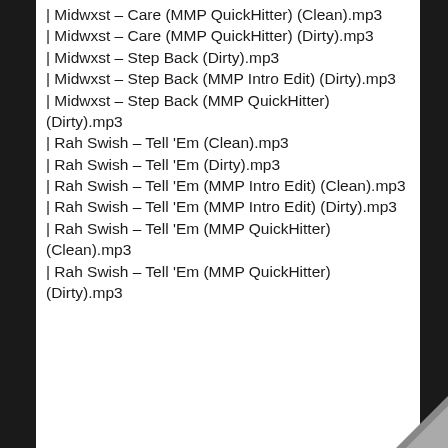| Midwxst – Care (MMP QuickHitter) (Clean).mp3
| Midwxst – Care (MMP QuickHitter) (Dirty).mp3
| Midwxst – Step Back (Dirty).mp3
| Midwxst – Step Back (MMP Intro Edit) (Dirty).mp3
| Midwxst – Step Back (MMP QuickHitter) (Dirty).mp3
| Rah Swish – Tell 'Em (Clean).mp3
| Rah Swish – Tell 'Em (Dirty).mp3
| Rah Swish – Tell 'Em (MMP Intro Edit) (Clean).mp3
| Rah Swish – Tell 'Em (MMP Intro Edit) (Dirty).mp3
| Rah Swish – Tell 'Em (MMP QuickHitter) (Clean).mp3
| Rah Swish – Tell 'Em (MMP QuickHitter) (Dirty).mp3